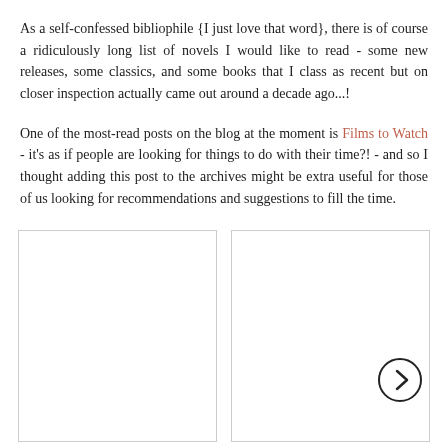As a self-confessed bibliophile {I just love that word}, there is of course a ridiculously long list of novels I would like to read - some new releases, some classics, and some books that I class as recent but on closer inspection actually came out around a decade ago...!
One of the most-read posts on the blog at the moment is Films to Watch - it's as if people are looking for things to do with their time?! - and so I thought adding this post to the archives might be extra useful for those of us looking for recommendations and suggestions to fill the time.
[Figure (photo): Two image placeholders side by side, partially visible, with a circular next arrow navigation button overlaid on the right image.]